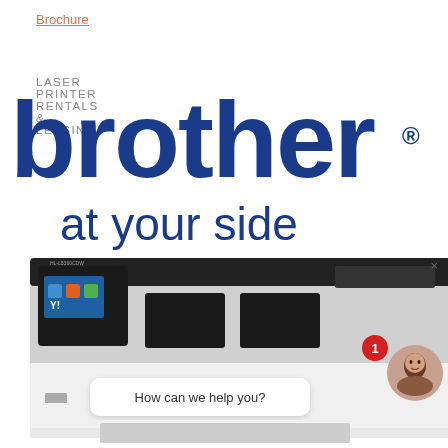Brochure
LASER PRINTER RENTALS & LEASING
[Figure (logo): Brother logo with 'brother' in large dark blue bold text with registered trademark symbol, and tagline 'at your side' below in dark blue]
[Figure (photo): Brother laser printer (HL-L8360CDW model) shown from front angle with a chat widget overlay showing a woman's avatar, a red notification badge with '1', an 'x' close button, and a speech bubble reading 'How can we help you?']